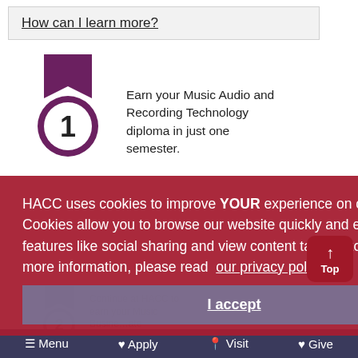How can I learn more?
[Figure (illustration): Purple medal/ribbon badge with number 1]
Earn your Music Audio and Recording Technology diploma in just one semester.
HACC uses cookies to improve YOUR experience on our website. Cookies allow you to browse our website quickly and easily, enjoy features like social sharing and view content tailored to you. For more information, please read our privacy policy.
I accept
Menu  Apply  Visit  Give